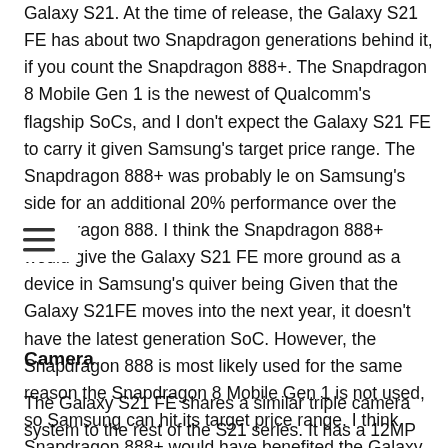Galaxy S21. At the time of release, the Galaxy S21 FE has about two Snapdragon generations behind it, if you count the Snapdragon 888+. The Snapdragon 8 Mobile Gen 1 is the newest of Qualcomm's flagship SoCs, and I don't expect the Galaxy S21 FE to carry it given Samsung's target price range. The Snapdragon 888+ was probably le on Samsung's side for an additional 20% performance over the Snapdragon 888. I think the Snapdragon 888+ would give the Galaxy S21 FE more ground as a device in Samsung's quiver being Given that the Galaxy S21FE moves into the next year, it doesn't have the latest generation SoC. However, the Snapdragon 888 is most likely used for the same reason the Snapdragon 8 Mobile Gen 1 is not used, so Samsung can hit its target price range. I think Snapdragon 888+ would have benefited the Galaxy S21 FE at its price point and set it apart even more from the Galaxy S21.
Camera
The Galaxy S21 FE shares a similar triple camera system to the rest of the S21 series. It has a 12MP Wide, 12MP Ultrawide and an 8MP